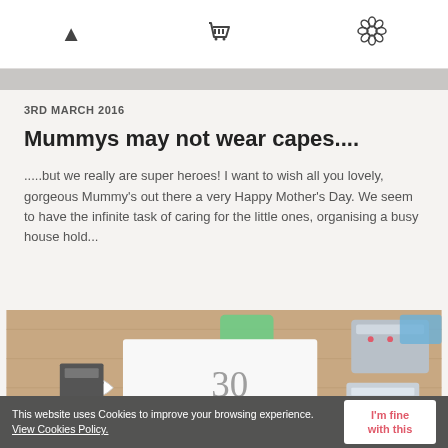Navigation icons: arrow up, shopping basket, flower
3RD MARCH 2016
Mummys may not wear capes....
.....but we really are super heroes! I want to wish all you lovely, gorgeous Mummy's out there a very Happy Mother's Day. We seem to have the infinite task of caring for the little ones, organising a busy house hold...
[Figure (photo): Flat lay photo on a wooden surface showing handmade greeting cards including a '30' birthday card and a 'Happy Birthday' card made with Scrabble letters, ribbons, and small tins]
This website uses Cookies to improve your browsing experience. View Cookies Policy. | I'm fine with this